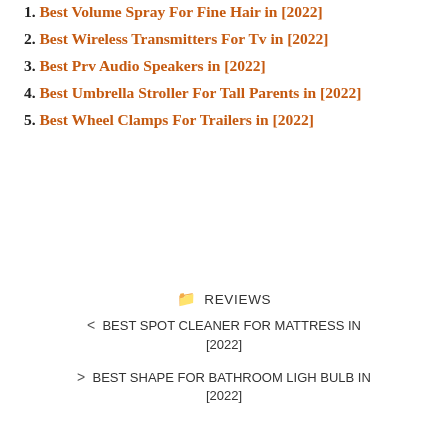1. Best Volume Spray For Fine Hair in [2022]
2. Best Wireless Transmitters For Tv in [2022]
3. Best Prv Audio Speakers in [2022]
4. Best Umbrella Stroller For Tall Parents in [2022]
5. Best Wheel Clamps For Trailers in [2022]
REVIEWS
< BEST SPOT CLEANER FOR MATTRESS IN [2022]
> BEST SHAPE FOR BATHROOM LIGH BULB IN [2022]